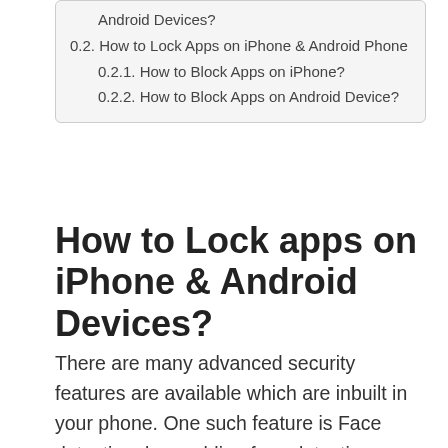Android Devices?
0.2. How to Lock Apps on iPhone & Android Phone
0.2.1. How to Block Apps on iPhone?
0.2.2. How to Block Apps on Android Device?
How to Lock apps on iPhone & Android Devices?
There are many advanced security features are available which are inbuilt in your phone. One such feature is Face detection, by enabling face detection you can easily lock the specific apps. This is available for iPhone X and some recently launched Android devices. There is also fingerprint feature to lock your iPhone and Android devices. Many